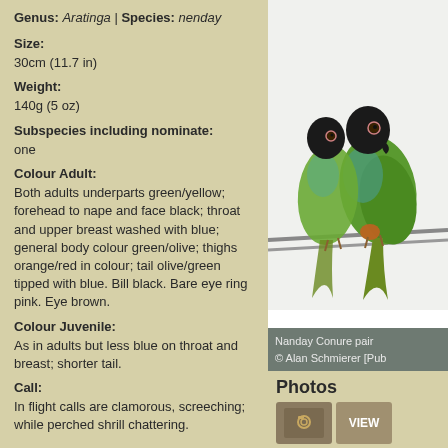Genus: Aratinga | Species: nenday
Size:
30cm (11.7 in)
Weight:
140g (5 oz)
Subspecies including nominate:
one
Colour Adult:
Both adults underparts green/yellow; forehead to nape and face black; throat and upper breast washed with blue; general body colour green/olive; thighs orange/red in colour; tail olive/green tipped with blue. Bill black. Bare eye ring pink. Eye brown.
Colour Juvenile:
As in adults but less blue on throat and breast; shorter tail.
Call:
In flight calls are clamorous, screeching; while perched shrill chattering.
Listen Now
[Figure (photo): Photo of Nanday Conure pair perched on a wire, showing green/yellow body, black head, blue throat. Credit: Alan Schmierer [Public domain].]
Nanday Conure pair
© Alan Schmierer [Pub...
Photos